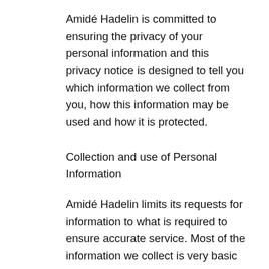Amidé Hadelin is committed to ensuring the privacy of your personal information and this privacy notice is designed to tell you which information we collect from you, how this information may be used and how it is protected.
Collection and use of Personal Information
Amidé Hadelin limits its requests for information to what is required to ensure accurate service. Most of the information we collect is very basic and is needed to complete a purchase or provide a refund. Examples of user information that may be collected may include your name, address, telephone number, e-mail address, credit-or debit-card information, a description of the item requested